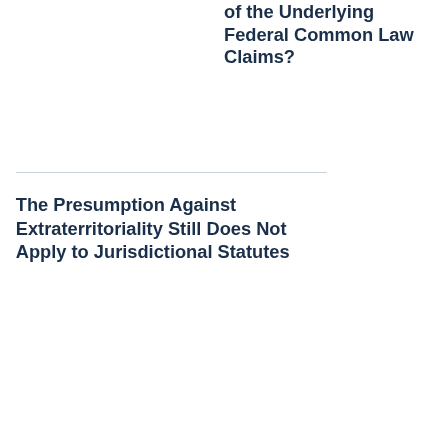of the Underlying Federal Common Law Claims?
The Presumption Against Extraterritoriality Still Does Not Apply to Jurisdictional Statutes
Jordan
And the presumption did not even